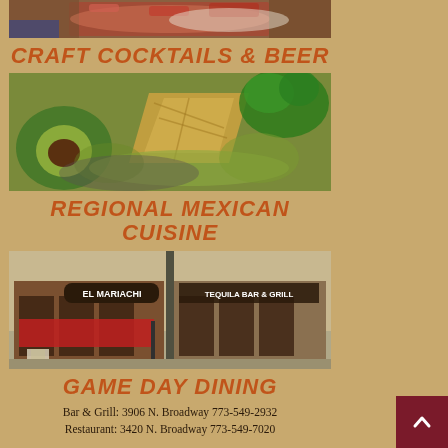[Figure (photo): Close-up photo of a food dish, appears to show red/pink food items with ice or cream, partial blue bowl visible]
CRAFT COCKTAILS & BEER
[Figure (photo): Close-up photo of guacamole with tortilla chips, avocado half, and fresh cilantro garnish in a stone mortar]
REGIONAL MEXICAN CUISINE
[Figure (photo): Street-level photo of El Mariachi Tequila Bar & Grill restaurant exterior showing two storefronts side by side on Broadway]
GAME DAY DINING
Bar & Grill: 3906 N. Broadway 773-549-2932
Restaurant: 3420 N. Broadway 773-549-7020